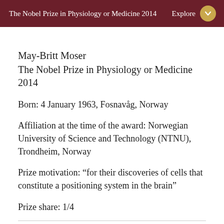The Nobel Prize in Physiology or Medicine 2014  Explore
May-Britt Moser
The Nobel Prize in Physiology or Medicine 2014
Born: 4 January 1963, Fosnavåg, Norway
Affiliation at the time of the award: Norwegian University of Science and Technology (NTNU), Trondheim, Norway
Prize motivation: “for their discoveries of cells that constitute a positioning system in the brain”
Prize share: 1/4
Life